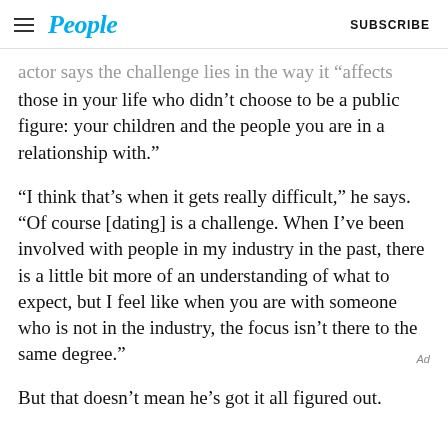People  SUBSCRIBE
actor says the challenge lies in the way it “affects those in your life who didn’t choose to be a public figure: your children and the people you are in a relationship with.”
“I think that’s when it gets really difficult,” he says. “Of course [dating] is a challenge. When I’ve been involved with people in my industry in the past, there is a little bit more of an understanding of what to expect, but I feel like when you are with someone who is not in the industry, the focus isn’t there to the same degree.”
But that doesn’t mean he’s got it all figured out.